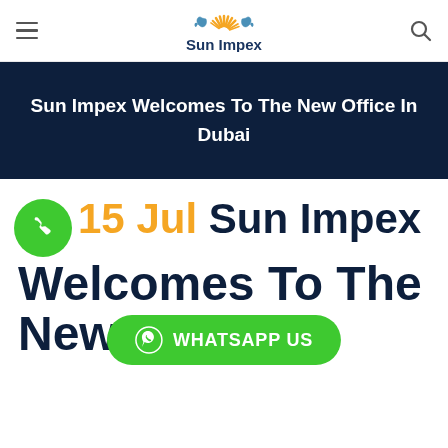☰  Sun Impex  🔍
Sun Impex Welcomes To The New Office In Dubai
15 Jul Sun Impex Welcomes To The New Office In
WHATSAPP US